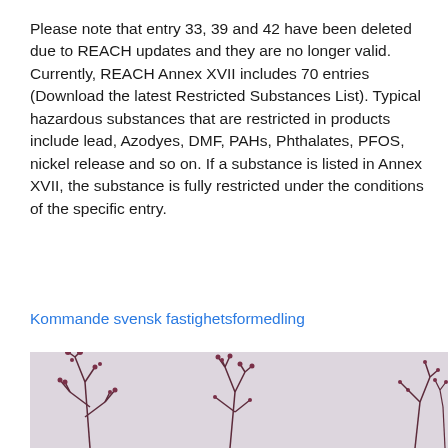Please note that entry 33, 39 and 42 have been deleted due to REACH updates and they are no longer valid. Currently, REACH Annex XVII includes 70 entries (Download the latest Restricted Substances List). Typical hazardous substances that are restricted in products include lead, Azodyes, DMF, PAHs, Phthalates, PFOS, nickel release and so on. If a substance is listed in Annex XVII, the substance is fully restricted under the conditions of the specific entry.
Kommande svensk fastighetsformedling
[Figure (photo): Photograph of dark reddish-purple dried plant silhouettes against a light pinkish-grey background, showing branching stems and small flower heads.]